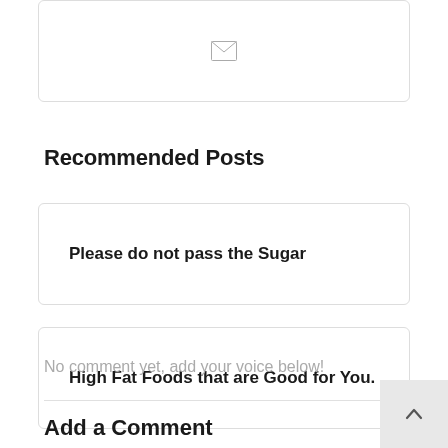[Figure (illustration): Card with email/envelope icon centered inside a rounded rectangle border]
Recommended Posts
Please do not pass the Sugar
High Fat Foods that are Good for You.
No comment yet, add your voice below!
Add a Comment